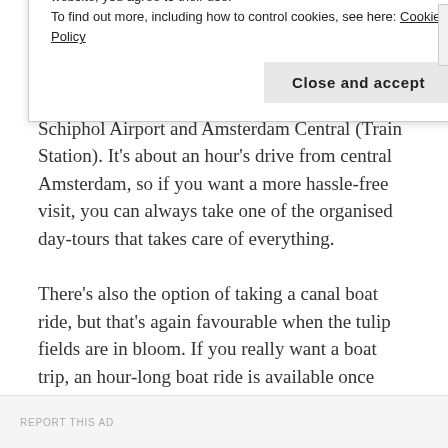photogenic and pretty.
Visiting Keukenhof can be done in many ways; there are public buses that run from both Schiphol Airport and Amsterdam Central (Train Station). It’s about an hour’s drive from central Amsterdam, so if you want a more hassle-free visit, you can always take one of the organised day-tours that takes care of everything.
There’s also the option of taking a canal boat ride, but that’s again favourable when the tulip fields are in bloom. If you really want a boat trip, an hour-long boat ride is available once you’re in Keukenhof
Privacy & Cookies: This site uses cookies. By continuing to use this website, you agree to their use.
To find out more, including how to control cookies, see here: Cookie Policy
Close and accept